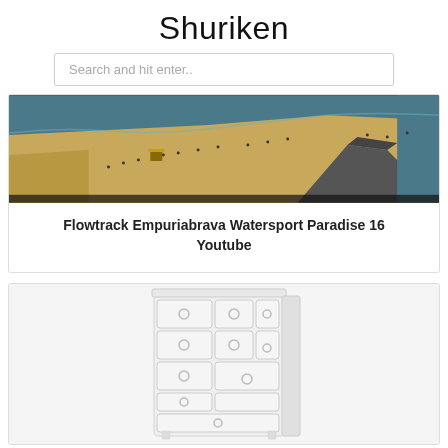Shuriken
Search and hit enter..
[Figure (photo): Aerial view of a sandy beach peninsula with ocean water on multiple sides, people visible on the beach]
Flowtrack Empuriabrava Watersport Paradise 16 Youtube
[Figure (illustration): White dresser/chest of drawers with circular handles on each drawer, illustrated product image on light grey background]